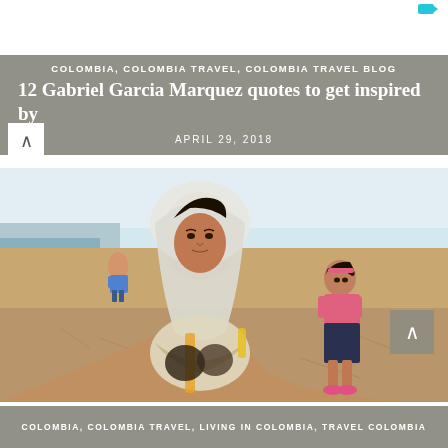COLOMBIA, COLOMBIA TRAVEL, COLOMBIA TRAVEL BLOG
12 Gabriel Garcia Marquez quotes to get inspired by
APRIL 29, 2018
[Figure (photo): A woman wearing a white head covering and holding a bundled package stands in a dry, sandy landscape. A young girl in a pink shirt and dark skirt stands behind her to the right. A man in a blue shirt is visible in the background on the left near water.]
COLOMBIA, COLOMBIA TRAVEL, LIVING IN COLOMBIA, TRAVEL COLOMBIA